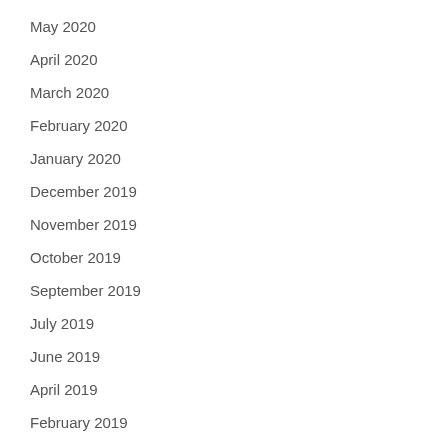May 2020
April 2020
March 2020
February 2020
January 2020
December 2019
November 2019
October 2019
September 2019
July 2019
June 2019
April 2019
February 2019